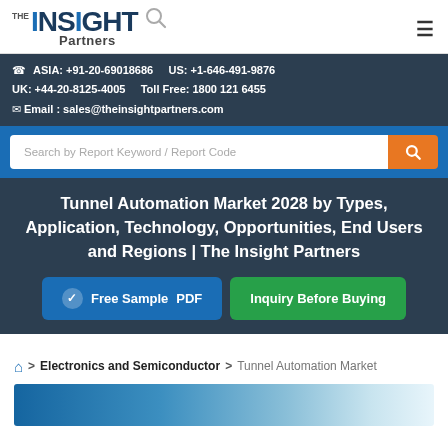[Figure (logo): The Insight Partners logo with magnifying glass icon]
ASIA: +91-20-69018686   US: +1-646-491-9876
UK: +44-20-8125-4005   Toll Free: 1800 121 6455
Email : sales@theinsightpartners.com
Search by Report Keyword / Report Code
Tunnel Automation Market 2028 by Types, Application, Technology, Opportunities, End Users and Regions | The Insight Partners
Free Sample PDF
Inquiry Before Buying
Home > Electronics and Semiconductor > Tunnel Automation Market